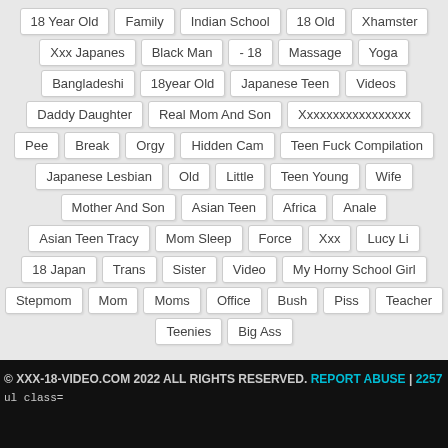18 Year Old
Family
Indian School
18 Old
Xhamster
Xxx Japanes
Black Man
- 18
Massage
Yoga
Bangladeshi
18year Old
Japanese Teen
Videos
Daddy Daughter
Real Mom And Son
Xxxxxxxxxxxxxxxxx
Pee
Break
Orgy
Hidden Cam
Teen Fuck Compilation
Japanese Lesbian
Old
Little
Teen Young
Wife
Mother And Son
Asian Teen
Africa
Anale
Asian Teen Tracy
Mom Sleep
Force
Xxx
Lucy Li
18 Japan
Trans
Sister
Video
My Horny School Girl
Stepmom
Mom
Moms
Office
Bush
Piss
Teacher
Teenies
Big Ass
© XXX-18-VIDEO.COM 2022 ALL RIGHTS RESERVED. REPORT ABUSE | 2257
ul class=